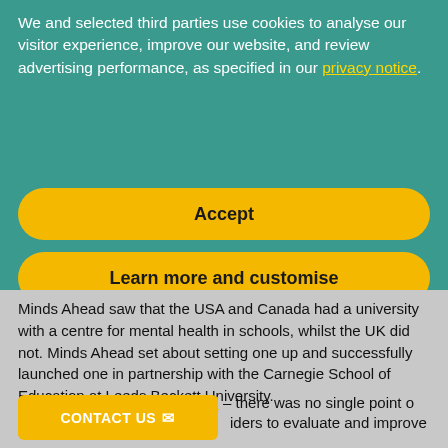We and selected third parties use cookies to analyse our visitor experience, improve our website, and review advertising performance, as specified in our privacy notice.
Accept
Learn more and customise
Minds Ahead saw that the USA and Canada had a university with a centre for mental health in schools, whilst the UK did not. Minds Ahead set about setting one up and successfully launched one in partnership with the Carnegie School of Education at Leeds Beckett University.
School Mental Health Award – there was no single point o... iders to evaluate and improve their mental health work. Minds Ahead designed this award which is now used by over 1000 schools &